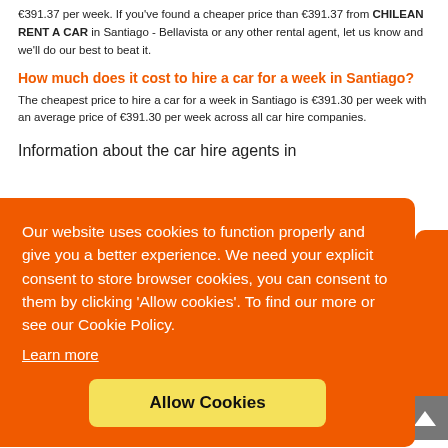€391.37 per week. If you've found a cheaper price than €391.37 from CHILEAN RENT A CAR in Santiago - Bellavista or any other rental agent, let us know and we'll do our best to beat it.
How much does it cost to hire a car for a week in Santiago?
The cheapest price to hire a car for a week in Santiago is €391.30 per week with an average price of €391.30 per week across all car hire companies.
Information about the car hire agents in
Our website uses cookies to function properly and give you a better experience. We need your explicit consent to store browser cookies, you can consent to them by clicking 'Allow cookies'. To find our more or see our Cookie Policy.
Learn more
Allow Cookies